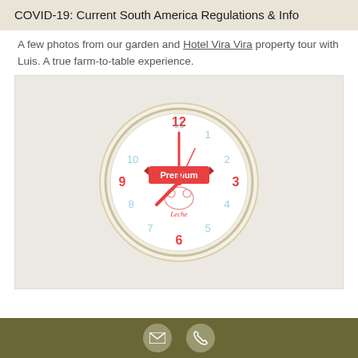COVID-19: Current South America Regulations & Info
A few photos from our garden and Hotel Vira Vira property tour with Luis. A true farm-to-table experience.
[Figure (photo): A round wall clock with a cream/white frame. The clock face is white with red numerals for 12, 3, 6, and 9, and light blue numerals for the remaining hours. The clock has red hands and features a red banner logo reading 'Premium' in the center, with a small animal illustration below it and script text reading 'Leche'.]